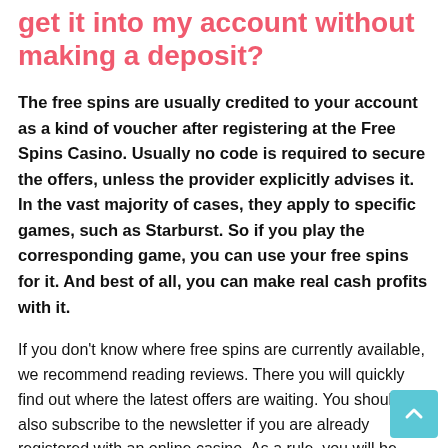get it into my account without making a deposit?
The free spins are usually credited to your account as a kind of voucher after registering at the Free Spins Casino. Usually no code is required to secure the offers, unless the provider explicitly advises it. In the vast majority of cases, they apply to specific games, such as Starburst. So if you play the corresponding game, you can use your free spins for it. And best of all, you can make real cash profits with it.
If you don't know where free spins are currently available, we recommend reading reviews. There you will quickly find out where the latest offers are waiting. You should also subscribe to the newsletter if you are already registered with an online casino. As a rule, you will be notified of any new promotions. If there is no Play Casino newsletter, there an